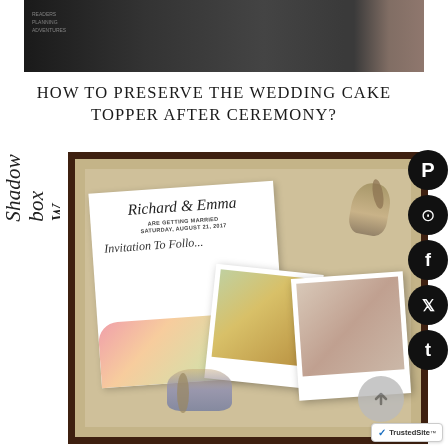[Figure (photo): Top banner photo showing dark chalkboard-style background with person on right side]
HOW TO PRESERVE THE WEDDING CAKE TOPPER AFTER CEREMONY?
[Figure (photo): Shadow box frame containing wedding invitation for Richard & Emma, ARE GETTING MARRIED, SATURDAY, AUGUST 21, 2017, Invitation To Follo..., dried flowers, and two polaroid-style photos of wedding bouquet and rings]
Shadow box Wedding...